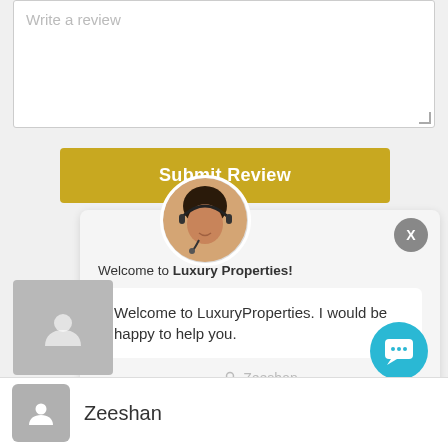[Figure (screenshot): Text area input field with placeholder text 'Write a review']
Submit Review
[Figure (screenshot): Chat popup with agent avatar, welcome message 'Welcome to Luxury Properties!', body text 'Welcome to LuxuryProperties. I would be happy to help you.', Zeeshan placeholder, and View Listings link. X close button top right. Teal chat bubble icon and gold speech icon bottom right.]
Zeeshan